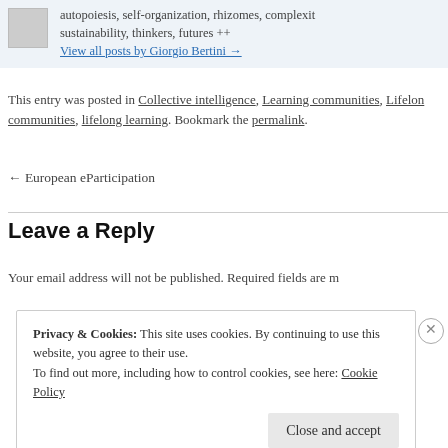autopoiesis, self-organization, rhizomes, complexity, sustainability, thinkers, futures ++
View all posts by Giorgio Bertini →
This entry was posted in Collective intelligence, Learning communities, Lifelong communities, lifelong learning. Bookmark the permalink.
← European eParticipation
Leave a Reply
Your email address will not be published. Required fields are m
Privacy & Cookies: This site uses cookies. By continuing to use this website, you agree to their use.
To find out more, including how to control cookies, see here: Cookie Policy
Close and accept